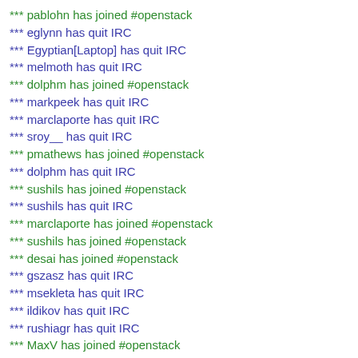*** pablohn has joined #openstack
*** eglynn has quit IRC
*** Egyptian[Laptop] has quit IRC
*** melmoth has quit IRC
*** dolphm has joined #openstack
*** markpeek has quit IRC
*** marclaporte has quit IRC
*** sroy__ has quit IRC
*** pmathews has joined #openstack
*** dolphm has quit IRC
*** sushils has joined #openstack
*** sushils has quit IRC
*** marclaporte has joined #openstack
*** sushils has joined #openstack
*** desai has joined #openstack
*** gszasz has quit IRC
*** msekleta has quit IRC
*** ildikov has quit IRC
*** rushiagr has quit IRC
*** MaxV has joined #openstack
*** cpelon has quit IRC
*** tal has joined #openstack
*** merun has joined #openstack